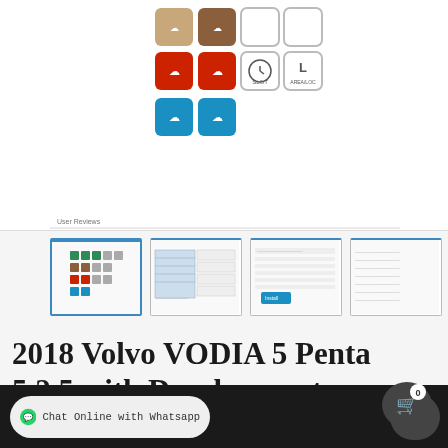[Figure (screenshot): Product image showing a grid of colorful cloud-icon buttons: tan, brown, white, red, and blue variants arranged in rows]
[Figure (screenshot): Small thumbnail of the icon grid (active, blue border)]
[Figure (screenshot): Small thumbnail showing a software interface/form screen]
[Figure (screenshot): Small thumbnail showing another software interface screen]
[Figure (screenshot): Small thumbnail showing a text/list interface screen]
2018 Volvo VODIA 5 Penta 5.2.5 with Development Diagnostic Software
Chat Online with Whatsapp